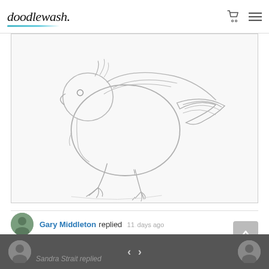doodlewash.
[Figure (illustration): A pencil sketch of a bird (possibly a pigeon or dove) in a loose, gestural style. The bird is drawn with rough pencil strokes, showing the body, wing, beak, and feet. The sketch is on white paper.]
Gary Middleton replied 11 days ago
Great to see your planning, Sandra.
Sandra Strait replied